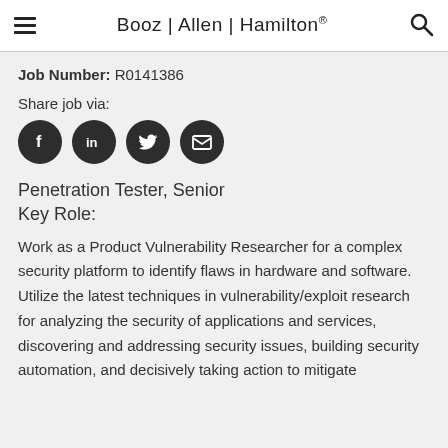Booz | Allen | Hamilton®
Job Number: R0141386
Share job via:
[Figure (infographic): Four dark circular social media share buttons: Facebook, LinkedIn, Twitter, Email]
Penetration Tester, Senior
Key Role:
Work as a Product Vulnerability Researcher for a complex security platform to identify flaws in hardware and software. Utilize the latest techniques in vulnerability/exploit research for analyzing the security of applications and services, discovering and addressing security issues, building security automation, and decisively taking action to mitigate